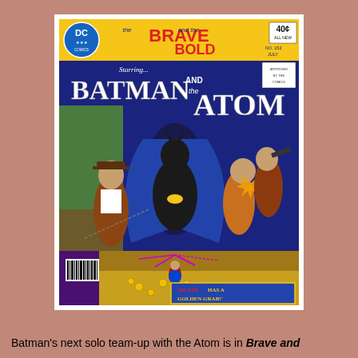[Figure (illustration): Comic book cover of DC's 'The Brave and the Bold' No. 152, July, featuring Batman and the Atom. Price 40 cents. Shows Batman and Atom fighting villains with gold coins scattered. Bottom caption reads 'DEATH HAS A GOLDEN GRAB!']
Batman's next solo team-up with the Atom is in Brave and